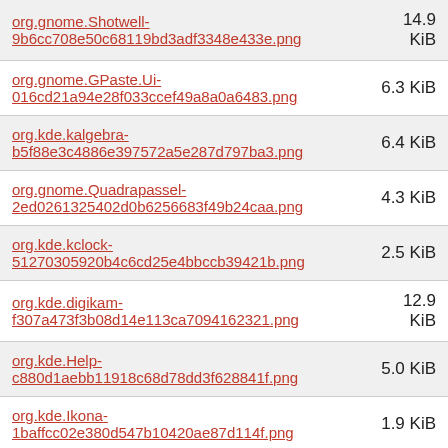| Filename | Size |
| --- | --- |
| org.gnome.Shotwell-9b6cc708e50c68119bd3adf3348e433e.png | 14.9 KiB |
| org.gnome.GPaste.Ui-016cd21a94e28f033ccef49a8a0a6483.png | 6.3 KiB |
| org.kde.kalgebra-b5f88e3c4886e397572a5e287d797ba3.png | 6.4 KiB |
| org.gnome.Quadrapassel-2ed0261325402d0b6256683f49b24caa.png | 4.3 KiB |
| org.kde.kclock-51270305920b4c6cd25e4bbccb39421b.png | 2.5 KiB |
| org.kde.digikam-f307a473f3b08d14e113ca7094162321.png | 12.9 KiB |
| org.kde.Help-c880d1aebb11918c68d78dd3f628841f.png | 5.0 KiB |
| org.kde.Ikona-1baffcc02e380d547b10420ae87d114f.png | 1.9 KiB |